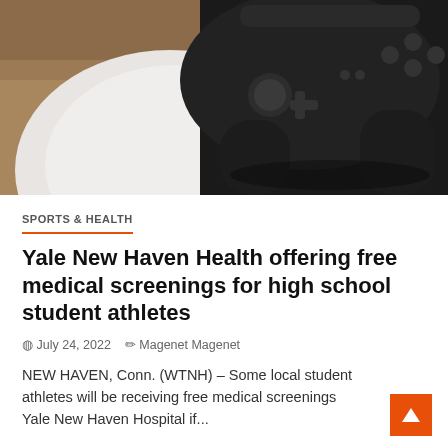[Figure (photo): A black gaming controller resting on a white circular surface on a wooden table, photographed from above at an angle. The controller is dark/black colored showing buttons and triggers.]
SPORTS & HEALTH
Yale New Haven Health offering free medical screenings for high school student athletes
July 24, 2022   Magenet Magenet
NEW HAVEN, Conn. (WTNH) – Some local student athletes will be receiving free medical screenings Yale New Haven Hospital if...